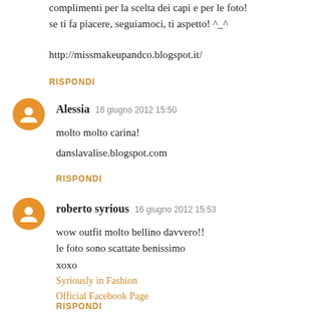complimenti per la scelta dei capi e per le foto! se ti fa piacere, seguiamoci, ti aspetto! ^_^
http://missmakeupandco.blogspot.it/
RISPONDI
Alessia  16 giugno 2012 15:50
molto molto carina!
danslavalise.blogspot.com
RISPONDI
roberto syrious  16 giugno 2012 15:53
wow outfit molto bellino davvero!! le foto sono scattate benissimo xoxo
Syriously in Fashion
Official Facebook Page
RISPONDI